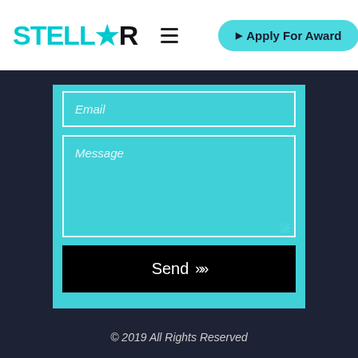[Figure (logo): STELLAR logo with teal/cyan stylized text and black R, followed by hamburger menu icon and Apply For Award button]
[Figure (screenshot): Contact form on teal background with Email input field, Message textarea, and Send button on dark navy background]
© 2019 All Rights Reserved